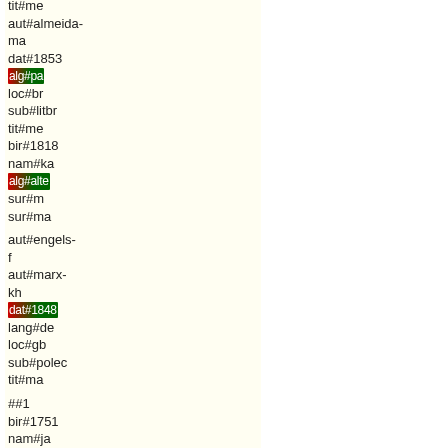tit#me
aut#almeida-ma
dat#1853
alg#pa
loc#br
sub#litbr
tit#me
bir#1818
nam#ka
alg#alte
sur#m
sur#ma
aut#engels-f
aut#marx-kh
dat#1848
lang#de
loc#gb
sub#polec
tit#ma
##1
bir#1751
nam#ja
alg#02/32
sub#philp
sur#m
sur#ma
##1
dat#1469
nam#ni
alg#341/35
subj#phipol
sur#m
sur#ma